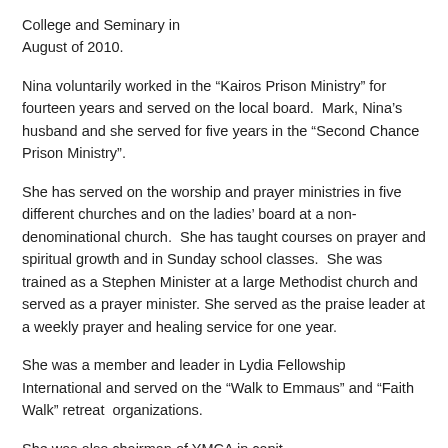College and Seminary in August of 2010.
Nina voluntarily worked in the “Kairos Prison Ministry” for fourteen years and served on the local board.  Mark, Nina’s husband and she served for five years in the “Second Chance Prison Ministry”.
She has served on the worship and prayer ministries in five different churches and on the ladies’ board at a non-denominational church.  She has taught courses on prayer and spiritual growth and in Sunday school classes.  She was trained as a Stephen Minister at a large Methodist church and served as a prayer minister. She served as the praise leader at a weekly prayer and healing service for one year.
She was a member and leader in Lydia Fellowship International and served on the “Walk to Emmaus” and “Faith Walk” retreat organizations.
She was also chairman of YMCA in capital...